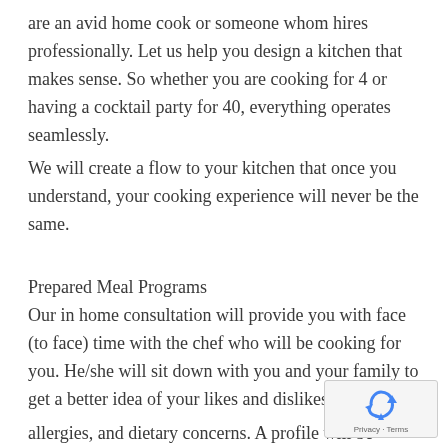are an avid home cook or someone whom hires professionally. Let us help you design a kitchen that makes sense. So whether you are cooking for 4 or having a cocktail party for 40, everything operates seamlessly.
We will create a flow to your kitchen that once you understand, your cooking experience will never be the same.
Prepared Meal Programs
Our in home consultation will provide you with face (to face) time with the chef who will be cooking for you. He/she will sit down with you and your family to get a better idea of your likes and dislikes
allergies, and dietary concerns. A profile will be created database for each client and, kept on record. After doing so, (a